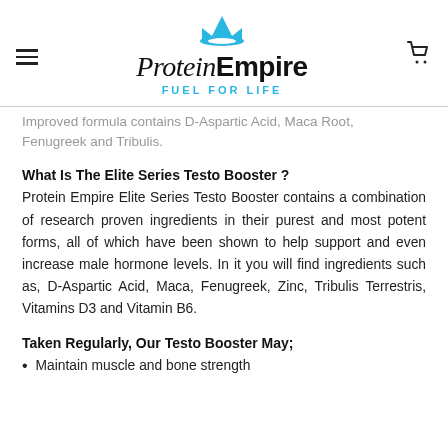Protein Empire — FUEL FOR LIFE (navigation header with logo)
Improved formula contains D-Aspartic Acid, Maca Root, Fenugreek and Tribulis.
What Is The Elite Series Testo Booster ?
Protein Empire Elite Series Testo Booster contains a combination of research proven ingredients in their purest and most potent forms, all of which have been shown to help support and even increase male hormone levels. In it you will find ingredients such as, D-Aspartic Acid, Maca, Fenugreek, Zinc, Tribulis Terrestris, Vitamins D3 and Vitamin B6.
Taken Regularly, Our Testo Booster May;
Maintain muscle and bone strength